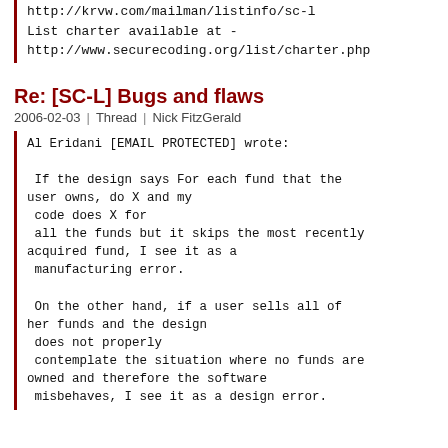http://krvw.com/mailman/listinfo/sc-l
List charter available at -
http://www.securecoding.org/list/charter.php
Re: [SC-L] Bugs and flaws
2006-02-03 | Thread | Nick FitzGerald
Al Eridani [EMAIL PROTECTED] wrote:

 If the design says For each fund that the
user owns, do X and my
 code does X for
 all the funds but it skips the most recently
acquired fund, I see it as a
 manufacturing error.

 On the other hand, if a user sells all of
her funds and the design
 does not properly
 contemplate the situation where no funds are
owned and therefore the software
 misbehaves, I see it as a design error.